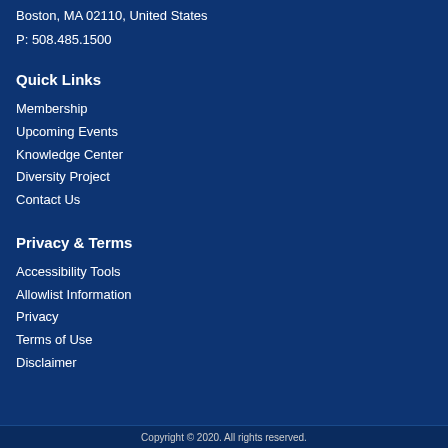Boston, MA 02110, United States
P: 508.485.1500
Quick Links
Membership
Upcoming Events
Knowledge Center
Diversity Project
Contact Us
Privacy & Terms
Accessibility Tools
Allowlist Information
Privacy
Terms of Use
Disclaimer
Copyright © 2020. All rights reserved.